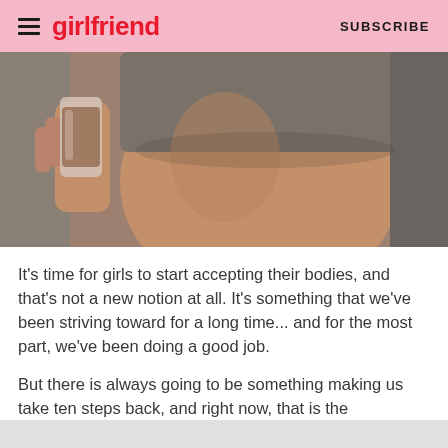girlfriend  SUBSCRIBE
[Figure (photo): Close-up photo of a person's midriff in a grey sports bra/crop top, holding a chocolate smoothie or protein shake in a glass, with a grey background]
It's time for girls to start accepting their bodies, and that's not a new notion at all. It's something that we've been striving toward for a long time... and for the most part, we've been doing a good job.
But there is always going to be something making us take ten steps back, and right now, that is the advertising of products such as 'flat tummy teas' celebrities are constantly promoting on their Instagram pages.